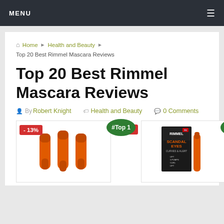MENU
Home › Health and Beauty › Top 20 Best Rimmel Mascara Reviews
Top 20 Best Rimmel Mascara Reviews
By Robert Knight   Health and Beauty   0 Comments
[Figure (photo): Two product panels side by side: left shows three orange Rimmel mascara tubes with a -13% badge and #Top 1 label; right shows a Rimmel ScandalEyes mascara product box with a -43% badge and #Top 2 label.]